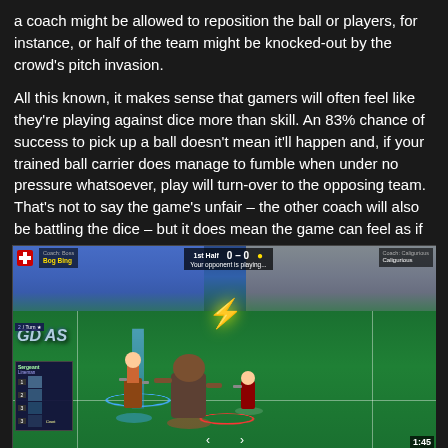a coach might be allowed to reposition the ball or players, for instance, or half of the team might be knocked-out by the crowd's pitch invasion.
All this known, it makes sense that gamers will often feel like they're playing against dice more than skill. An 83% chance of success to pick up a ball doesn't mean it'll happen and, if your trained ball carrier does manage to fumble when under no pressure whatsoever, play will turn-over to the opposing team. That's not to say the game's unfair – the other coach will also be battling the dice – but it does mean the game can feel as if it's got too much variance, which is what induces player rage.
[Figure (screenshot): Screenshot of a fantasy football video game showing two teams on a grass field stadium. The HUD shows a score of 0-0, with team names and a 'Your opponent is playing...' message. A lightning bolt icon is visible in the center. Players and creatures are shown mid-action on the field with targeting circles. Left side shows a player card panel and team logo 'GD AS'. Timer shows 1:45 in bottom right.]